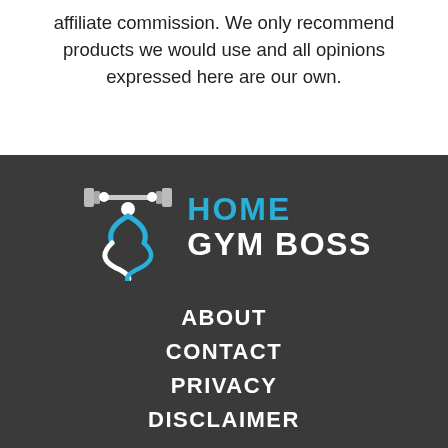affiliate commission. We only recommend products we would use and all opinions expressed here are our own.
[Figure (logo): Home Gym Boss logo: stylized figure lifting barbell above head with blue and white DNA/swirl design, text HOME in blue and GYM BOSS in white]
ABOUT
CONTACT
PRIVACY
DISCLAIMER